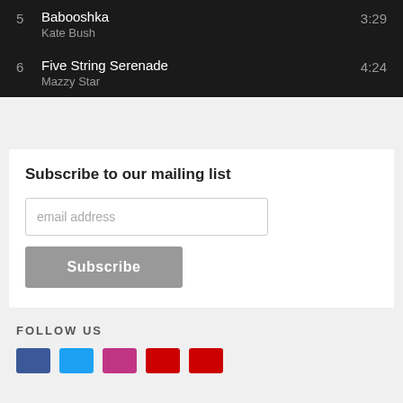5  Babooshka  3:29  Kate Bush
6  Five String Serenade  4:24  Mazzy Star
Subscribe to our mailing list
email address
Subscribe
FOLLOW US